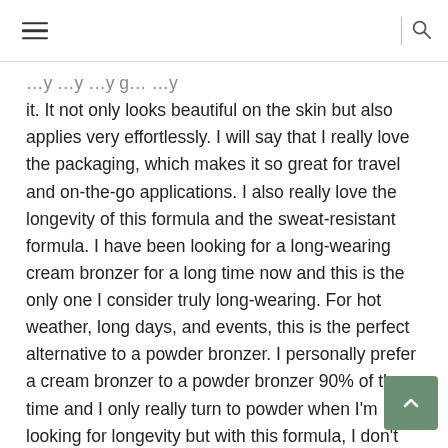≡  |  🔍
it. It not only looks beautiful on the skin but also applies very effortlessly. I will say that I really love the packaging, which makes it so great for travel and on-the-go applications. I also really love the longevity of this formula and the sweat-resistant formula. I have been looking for a long-wearing cream bronzer for a long time now and this is the only one I consider truly long-wearing. For hot weather, long days, and events, this is the perfect alternative to a powder bronzer. I personally prefer a cream bronzer to a powder bronzer 90% of the time and I only really turn to powder when I'm looking for longevity but with this formula, I don't have to use powder bronzers. I can get the look and feel of a cream but with the longevity of a powder formula. While I don't love the excessive over-the-top